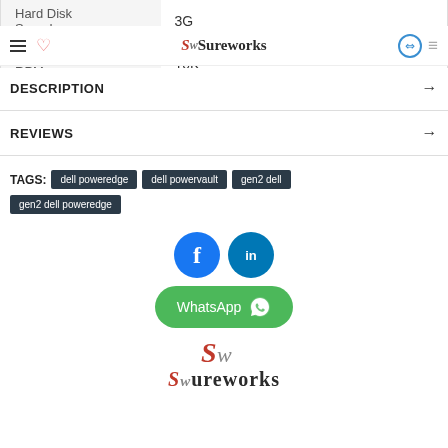Sureworks navigation bar with hamburger menu, heart icon, logo, exchange icon, cart icon
| Attribute | Value |
| --- | --- |
| Hard Disk Speed | 3G |
| Hard Disk RPM | 10K |
DESCRIPTION →
REVIEWS →
TAGS: dell poweredge  dell powervault  gen2 dell  gen2 dell poweredge
[Figure (logo): Facebook circle icon (blue), LinkedIn circle icon (blue)]
[Figure (other): WhatsApp green pill button with WhatsApp icon]
[Figure (logo): Sureworks logo at bottom of page]